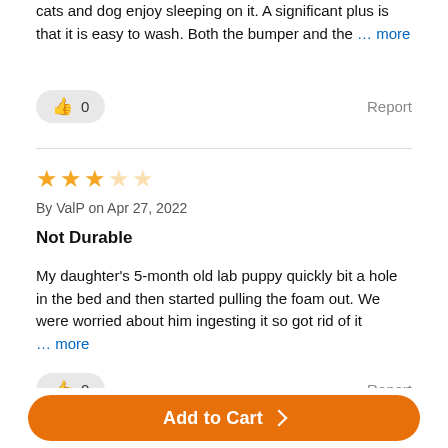cats and dog enjoy sleeping on it. A significant plus is that it is easy to wash. Both the bumper and the ... more
0  Report
★★★☆☆
By ValP on Apr 27, 2022
Not Durable
My daughter's 5-month old lab puppy quickly bit a hole in the bed and then started pulling the foam out. We were worried about him ingesting it so got rid of it ... more
0  Report
Add to Cart